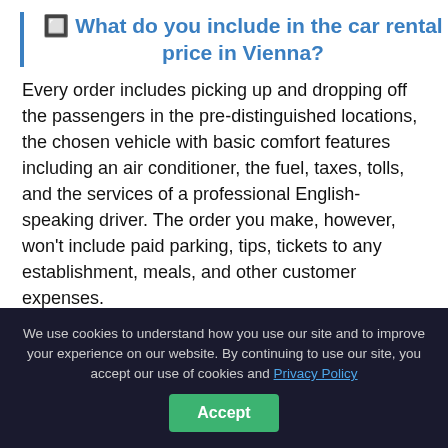🔲 What do you include in the car rental price in Vienna?
Every order includes picking up and dropping off the passengers in the pre-distinguished locations, the chosen vehicle with basic comfort features including an air conditioner, the fuel, taxes, tolls, and the services of a professional English-speaking driver. The order you make, however, won't include paid parking, tips, tickets to any establishment, meals, and other customer expenses.
🔲🔲 Are Business Class cars in Vienna different from First Class cars?
We use cookies to understand how you use our site and to improve your experience on our website. By continuing to use our site, you accept our use of cookies and Privacy Policy